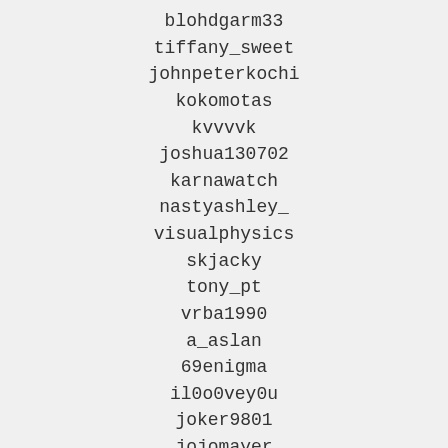blohdgarm33
tiffany_sweet
johnpeterkochi
kokomotas
kvvvvk
joshua130702
karnawatch
nastyashley_
visualphysics
skjacky
tony_pt
vrba1990
a_aslan
69enigma
il0o0vey0u
joker9801
jojomayer
dudi419
xiruloco
gerall1020
rightd6678
commax368
naughtylatino92
count_of_count741